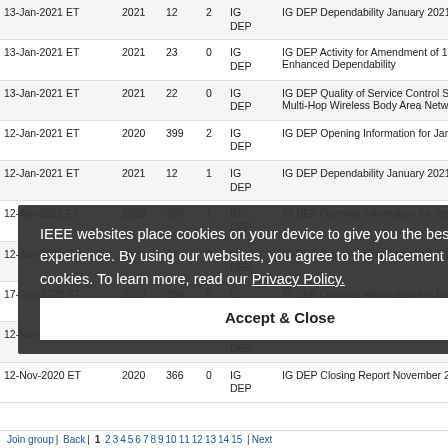| Date | Year | Num1 | Num2 | Group | Description |
| --- | --- | --- | --- | --- | --- |
| 13-Jan-2021 ET | 2021 | 12 | 2 | IG DEP | IG DEP Dependability January 2021 a... |
| 13-Jan-2021 ET | 2021 | 23 | 0 | IG DEP | IG DEP Activity for Amendment of 15.6 with Enhanced Dependability |
| 13-Jan-2021 ET | 2021 | 22 | 0 | IG DEP | IG DEP Quality of Service Control Sch... Multi-Hop Wireless Body Area Network... |
| 12-Jan-2021 ET | 2020 | 399 | 2 | IG DEP | IG DEP Opening Information for Janua... |
| 12-Jan-2021 ET | 2021 | 12 | 1 | IG DEP | IG DEP Dependability January 2021 a... |
| 12-Jan-2021 ET | 2020 | 399 | 1 | IG DEP | IG DEP Opening Information for Janua... |
| 12-Jan-2021 ET | 2021 | 12 | 0 | IG DEP | IG DEP Dependability January 2021 a... |
| 17-Dec-2020 ET | 2020 | 399 | 0 | IG DEP | IG DEP Opening Information for Janua... |
| 12-Nov-2020 ET | 2020 | 366 | 1 | IG DEP | IG DEP Closing Report November 202... |
| 12-Nov-2020 ET | 2020 | 366 | 0 | IG DEP | IG DEP Closing Report November 202... |
IEEE websites place cookies on your device to give you the best user experience. By using our websites, you agree to the placement of these cookies. To learn more, read our Privacy Policy.
Accept & Close
Join group | Back | 1 2 3 4 5 6 7 8 9 10 11 12 13 14 15 | Next